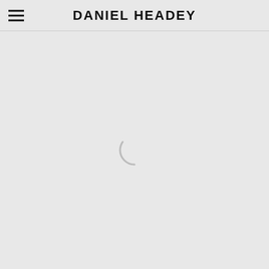DANIEL HEADEY
[Figure (other): Loading spinner — a partial arc (quarter circle) indicating a loading state, rendered in light gray against the light gray page background]